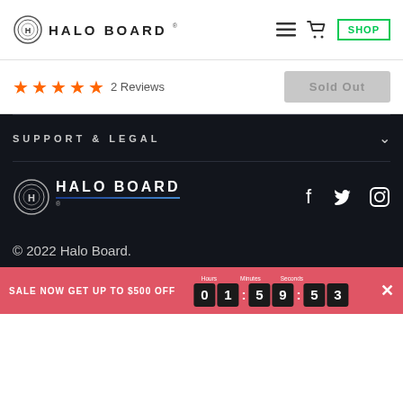HALO BOARD — navigation header with menu, cart, and SHOP button
★★★★★ 2 Reviews
Sold Out
SUPPORT & LEGAL
[Figure (logo): Halo Board logo in white on dark background with social media icons (Facebook, Twitter, Instagram)]
© 2022 Halo Board.
SALE NOW GET UP TO $500 OFF — Hours: 01 Minutes: 59 Seconds: 53